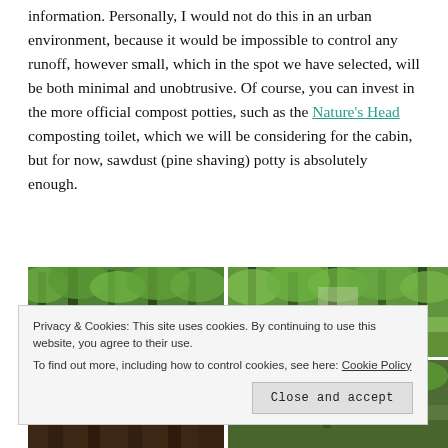information.  Personally, I would not do this in an urban environment, because it would be impossible to control any runoff, however small, which in the spot we have selected, will be both minimal and unobtrusive.  Of course, you can invest in the more official compost potties, such as the Nature's Head composting toilet, which we will be considering for the cabin, but for now, sawdust (pine shaving) potty is absolutely enough.
[Figure (photo): Two outdoor woodland/forest photos side by side showing trees and greenery, top row]
[Figure (photo): Two outdoor woodland/forest photos side by side, bottom row; left shows dark wooden structure, right shows forest]
Privacy & Cookies: This site uses cookies. By continuing to use this website, you agree to their use.
To find out more, including how to control cookies, see here: Cookie Policy
Close and accept